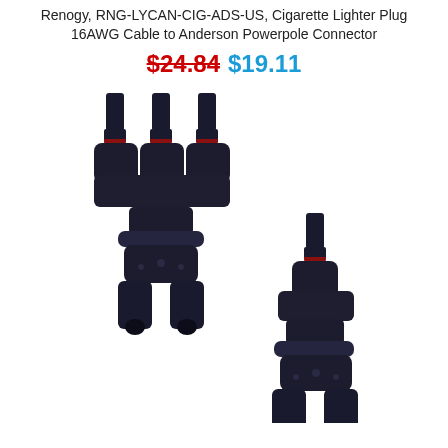Renogy, RNG-LYCAN-CIG-ADS-US, Cigarette Lighter Plug 16AWG Cable to Anderson Powerpole Connector
$24.84 $19.11
[Figure (photo): Two black multi-pin solar panel branch connectors (T-connectors), each with three male prongs on top and two female connectors on the bottom, shown against a white background.]